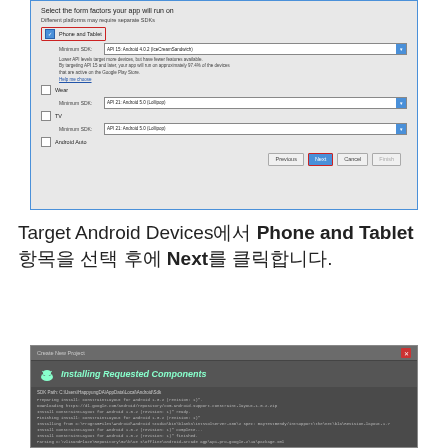[Figure (screenshot): Android Studio 'Target Android Devices' dialog showing form factor selection. 'Phone and Tablet' checkbox is checked (highlighted with red border), Minimum SDK set to 'API 15: Android 4.0.2 (IceCreamSandwich)'. Wear, TV, and Android Auto options also shown unchecked. 'Next' button highlighted with red border.]
Target Android Devices에서 Phone and Tablet 항목을 선택 후에 Next를 클릭합니다.
[Figure (screenshot): Android Studio 'Installing Requested Components' dialog showing installation log with SDK path and ConstraintLayout installation messages.]